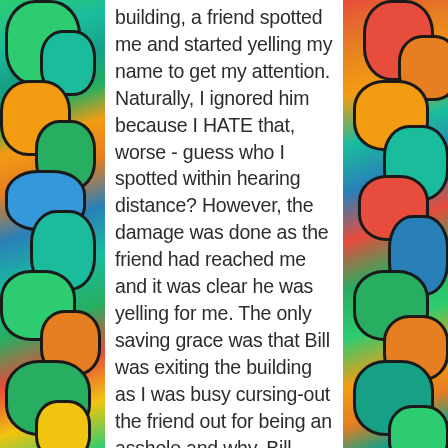[Figure (illustration): Colorful stained-glass style abstract artwork with organic cell shapes in green, blue, yellow, orange, and red tones, appearing on the left side of the page.]
building, a friend spotted me and started yelling my name to get my attention. Naturally, I ignored him because I HATE that, worse - guess who I spotted within hearing distance? However, the damage was done as the friend had reached me and it was clear he was yelling for me. The only saving grace was that Bill was exiting the building as I was busy cursing-out the friend out for being an asshole and why. Bill came up from behind, putting his arms around
[Figure (illustration): Colorful stained-glass style abstract artwork with organic cell shapes in red, orange, green, and teal tones, appearing on the right side of the page.]